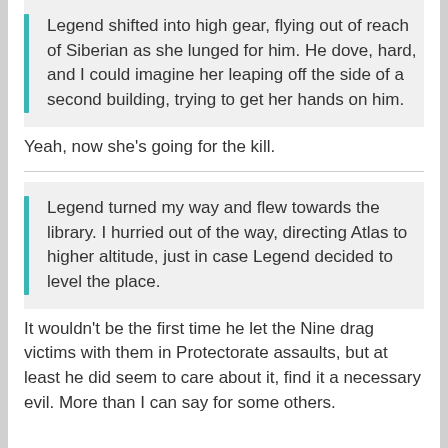Legend shifted into high gear, flying out of reach of Siberian as she lunged for him. He dove, hard, and I could imagine her leaping off the side of a second building, trying to get her hands on him.
Yeah, now she's going for the kill.
Legend turned my way and flew towards the library. I hurried out of the way, directing Atlas to higher altitude, just in case Legend decided to level the place.
It wouldn't be the first time he let the Nine drag victims with them in Protectorate assaults, but at least he did seem to care about it, find it a necessary evil. More than I can say for some others.